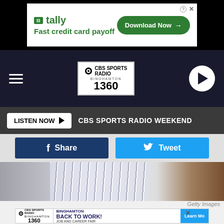[Figure (screenshot): Tally advertisement banner: Fast credit card payoff, Download Now button]
[Figure (screenshot): CBS Sports Radio Binghamton 1360 navigation bar with hamburger menu and play button]
LISTEN NOW ▶  CBS SPORTS RADIO WEEKEND
[Figure (screenshot): Facebook Share and Twitter Tweet social sharing buttons]
[Figure (photo): Baseball player in New York Yankees pinstripe uniform in dugout]
Getty Images
[Figure (screenshot): CBS Sports Radio Binghamton 1360 advertisement: Binghamton Back to Work Job and Career Fair, Learn More button]